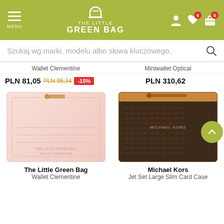The Little Green Bag — navigation header with menu, logo, user icon, wishlist (0), cart (0)
Szukaj wg marki, modelu albo słowa kluczowego.
Wallet Clementine
Miniwallet Optical
PLN 81,05 PLN 95,34 -15%
PLN 310,62
[Figure (photo): Pink leather card wallet (The Little Green Bag Wallet Clementine)]
[Figure (photo): Brown monogram Michael Kors Jet Set Large Slim Card Case with tan trim]
The Little Green Bag
Wallet Clementine
Michael Kors
Jet Set Large Slim Card Case